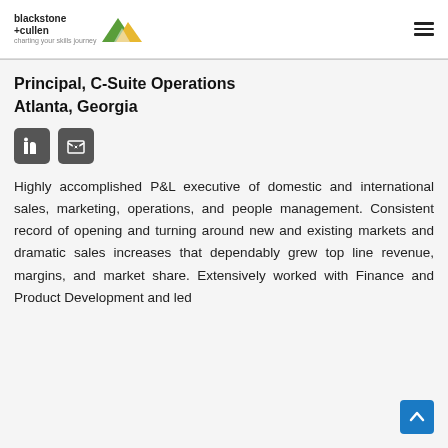blackstone + cullen — charting your skills journey
Principal, C-Suite Operations
Atlanta, Georgia
[Figure (infographic): Two icon buttons: LinkedIn icon and email/contact icon, both with dark grey square backgrounds]
Highly accomplished P&L executive of domestic and international sales, marketing, operations, and people management. Consistent record of opening and turning around new and existing markets and dramatic sales increases that dependably grew top line revenue, margins, and market share. Extensively worked with Finance and Product Development and led